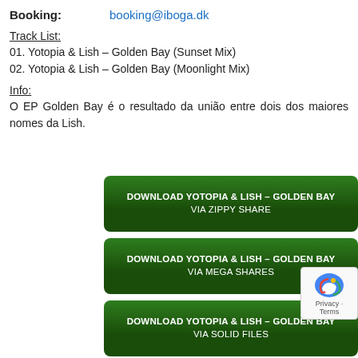Booking:   booking@iboga.dk
Track List:
01. Yotopia & Lish – Golden Bay (Sunset Mix)
02. Yotopia & Lish – Golden Bay (Moonlight Mix)
Info:
O EP Golden Bay é o resultado da união entre dois dos maiores nomes da Lish.
[Figure (other): Green download button: DOWNLOAD YOTOPIA & LISH – GOLDEN BAY VIA ZIPPY SHARE]
[Figure (other): Green download button: DOWNLOAD YOTOPIA & LISH – GOLDEN BAY VIA MEGA SHARES]
[Figure (other): Green download button: DOWNLOAD YOTOPIA & LISH – GOLDEN BAY VIA SOLID FILES]
[Figure (other): Green download button: DOWNLOAD YOTOPIA & LISH – G VIA FREAK SHARE]
[Figure (other): reCAPTCHA badge with Privacy · Terms]